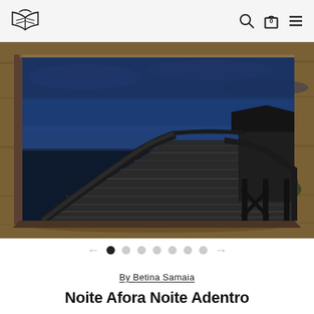Book store website header with logo, search, cart (0), and menu icons
[Figure (photo): A wooden pier/dock extending over water at night with a blue sky background, displayed as a printed book resting on a wooden surface]
[Figure (other): Carousel navigation: left arrow, 7 dots (first dot filled/active, rest grey), right arrow]
By Betina Samaia
Noite Afora Noite Adentro